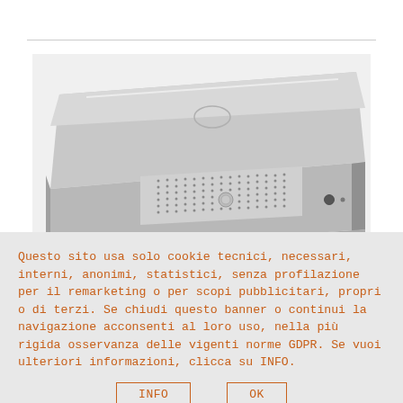[Figure (photo): A silver/aluminum flat desktop computer or media center device, viewed from a slight angle showing the front panel with ventilation grille, power button, headphone jack, and small status light. The device has a slim, flat profile with brushed metal finish.]
Questo sito usa solo cookie tecnici, necessari, interni, anonimi, statistici, senza profilazione per il remarketing o per scopi pubblicitari, propri o di terzi. Se chiudi questo banner o continui la navigazione acconsenti al loro uso, nella più rigida osservanza delle vigenti norme GDPR. Se vuoi ulteriori informazioni, clicca su INFO.